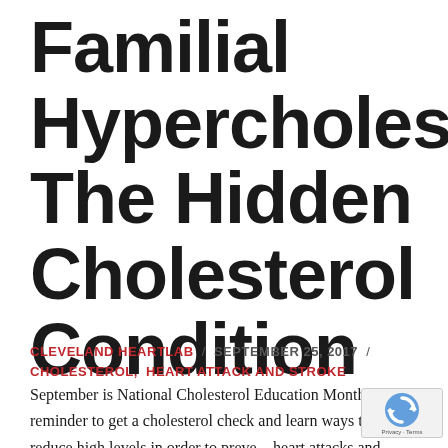Familial Hypercholesterolemia: The Hidden Cholesterol Condition
CLEVELAND HEARTLAB / SEPTEMBER 25, 2017 / CHOLESTEROL, HEART ATTACK AND STROKE
September is National Cholesterol Education Month—a reminder to get a cholesterol check and learn ways to reduce high levels in order to prevent heart attacks and strokes. It's also a good time to highlight a harmful lipid condition that often goes...